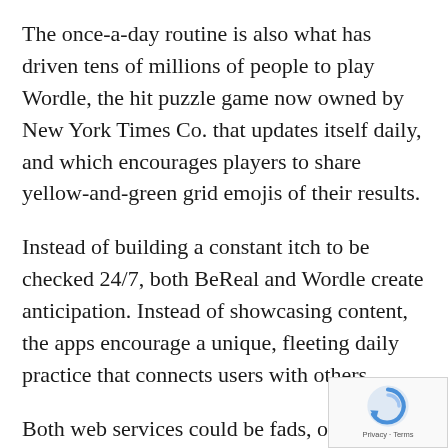The once-a-day routine is also what has driven tens of millions of people to play Wordle, the hit puzzle game now owned by New York Times Co. that updates itself daily, and which encourages players to share yellow-and-green grid emojis of their results.
Instead of building a constant itch to be checked 24/7, both BeReal and Wordle create anticipation. Instead of showcasing content, the apps encourage a unique, fleeting daily practice that connects users with others.
Both web services could be fads, of course. Remember the apps Dispo, YikYak and Peach? If not, that's because social media and internet platforms are a fickle business, filled with flameouts that couldn't attain long-term appeal with consumers.
But Wordle and BeReal's current success also co…
[Figure (other): Google reCAPTCHA badge with logo, Privacy and Terms links]